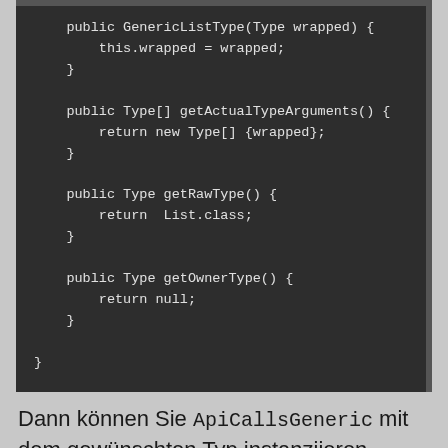[Figure (screenshot): Code block showing Java methods: GenericListType constructor, getActualTypeArguments, getRawType, and getOwnerType, with closing brace.]
Dann können Sie ApiCallsGeneric mit dem gewünschten Typ instanziieren.